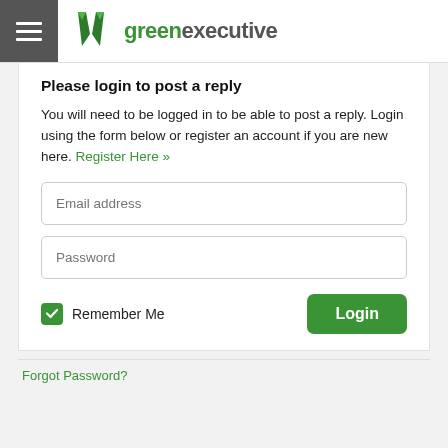greenexecutive
Please login to post a reply
You will need to be logged in to be able to post a reply. Login using the form below or register an account if you are new here. Register Here »
Email address
Password
Remember Me
Login
Forgot Password?